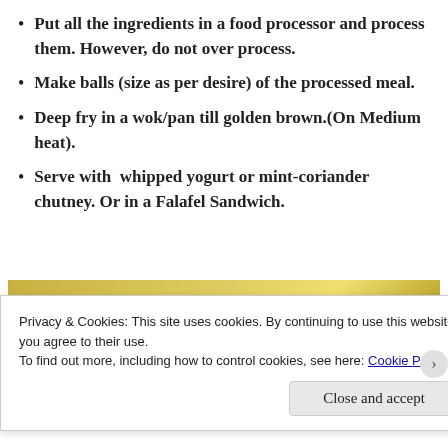Put all the ingredients in a food processor and process them. However, do not over process.
Make balls (size as per desire) of the processed meal.
Deep fry in a wok/pan till golden brown.(On Medium heat).
Serve with  whipped yogurt or mint-coriander chutney. Or in a Falafel Sandwich.
[Figure (photo): Photo of falafel dish served with white sauce/yogurt, green herb garnish, and a spoon, on a yellowish/golden background]
Privacy & Cookies: This site uses cookies. By continuing to use this website, you agree to their use.
To find out more, including how to control cookies, see here: Cookie Policy
Close and accept